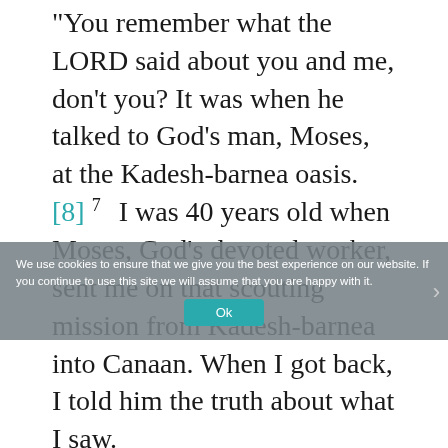“You remember what the LORD said about you and me, don’t you? It was when he talked to God’s man, Moses, at the Kadesh-barnea oasis. [8] 7  I was 40 years old when Moses, God’s devoted worker, sent me on that scouting mission from Kadesh-barnea into Canaan. When I got back, I told him the truth about what I saw.
8  The other scouts came back with a terrifying report that demoralized the people. But I stuck with the LORD my God.
9  Moses made me a promise that day. He said, ‘Trust me. One day you’re going to own the land you walked on. It will belong to you
We use cookies to ensure that we give you the best experience on our website. If you continue to use this site we will assume that you are happy with it.